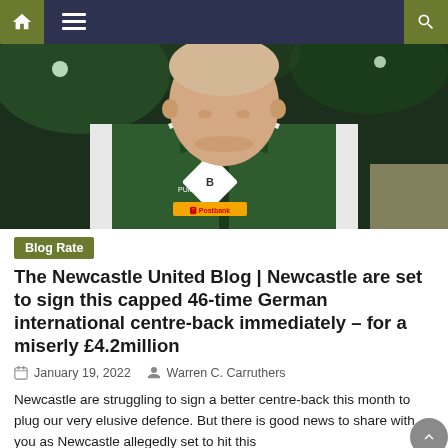Navigation bar with home, menu, and search icons
[Figure (photo): Young male footballer wearing a green Borussia Mönchengladbach Puma tracksuit jacket with Postbank sponsor logo, standing in a stadium with green lights in background]
Blog Rate
The Newcastle United Blog | Newcastle are set to sign this capped 46-time German international centre-back immediately – for a miserly £4.2million
January 19, 2022   Warren C. Carruthers
Newcastle are struggling to sign a better centre-back this month to plug our very elusive defence. But there is good news to share with you as Newcastle allegedly set to hit this